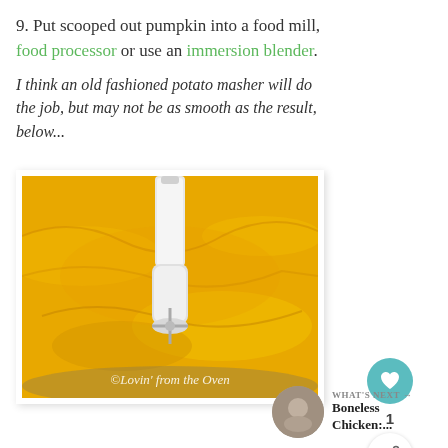9. Put scooped out pumpkin into a food mill, food processor or use an immersion blender.
I think an old fashioned potato masher will do the job, but may not be as smooth as the result, below...
[Figure (photo): Photo of bright yellow pumpkin puree in a bowl being processed with an immersion blender. Watermark reads: ©Lovin' from the Oven]
WHAT'S NEXT → Boneless Chicken:...